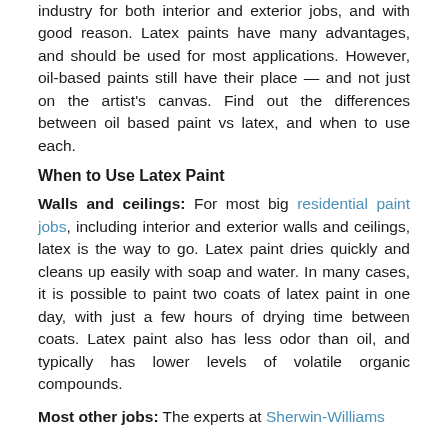industry for both interior and exterior jobs, and with good reason. Latex paints have many advantages, and should be used for most applications. However, oil-based paints still have their place — and not just on the artist's canvas. Find out the differences between oil based paint vs latex, and when to use each.
When to Use Latex Paint
Walls and ceilings: For most big residential paint jobs, including interior and exterior walls and ceilings, latex is the way to go. Latex paint dries quickly and cleans up easily with soap and water. In many cases, it is possible to paint two coats of latex paint in one day, with just a few hours of drying time between coats. Latex paint also has less odor than oil, and typically has lower levels of volatile organic compounds.
Most other jobs: The experts at Sherwin-Williams